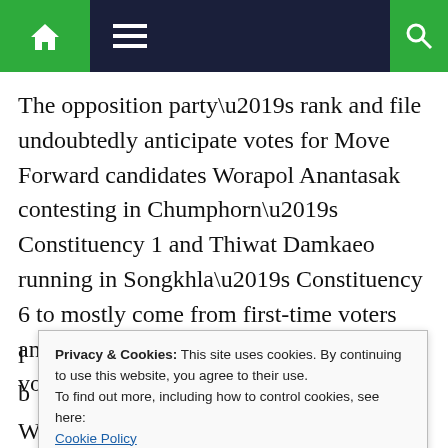Navigation bar with home icon, menu icon, and search icon
The opposition party’s rank and file undoubtedly anticipate votes for Move Forward candidates Worapol Anantasak contesting in Chumphorn’s Constituency 1 and Thiwat Damkaeo running in Songkhla’s Constituency 6 to mostly come from first-time voters and adolescent constituents but all those votes will be very far from enough to
Privacy & Cookies: This site uses cookies. By continuing to use this website, you agree to their use.
To find out more, including how to control cookies, see here:
Cookie Policy

Close and accept